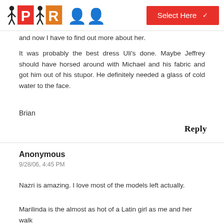Project Runway review site header with logo and Select Here dropdown
and now I have to find out more about her.
It was probably the best dress Uli's done. Maybe Jeffrey should have horsed around with Michael and his fabric and got him out of his stupor. He definitely needed a glass of cold water to the face.
Brian
Reply
Anonymous
9/28/06, 4:45 PM
Nazri is amazing. I love most of the models left actually.
Marilinda is the almost as hot of a Latin girl as me and her walk